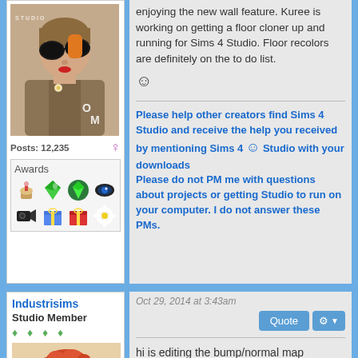[Figure (photo): Avatar photo of a woman wearing large round black sunglasses and orange gloves, in a vintage style with 'STUDIO' watermark and 'OM' text overlay]
Posts: 12,235 ♀
Awards
[Figure (other): Awards grid showing: cupcake icon, Sims diamond icon, Sims4 Studio logo, eye icon, movie camera icon, gift box icon, red gift box icon, daisy flower icon]
enjoying the new wall feature. Kuree is working on getting a floor cloner up and running for Sims 4 Studio. Floor recolors are definitely on the to do list. ☺
Please help other creators find Sims 4 Studio and receive the help you received by mentioning Sims 4 ☺ Studio with your downloads Please do not PM me with questions about projects or getting Studio to run on your computer. I do not answer these PMs.
Industrisims
Studio Member
♦ ♦ ♦ ♦
[Figure (photo): Avatar of a Sims character with short red/auburn hair]
Oct 29, 2014 at 3:43am
hi is editing the bump/normal map possible
EDIT